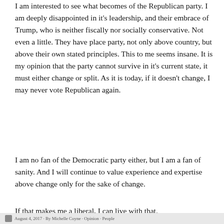I am interested to see what becomes of the Republican party.  I am deeply disappointed in it's leadership, and their embrace of Trump, who is neither fiscally nor socially conservative.  Not even a little.  They have place party, not only above country, but above their own stated principles.  This to me seems insane.  It is my opinion that the party cannot survive in it's current state, it must either change or split.  As it is today, if it doesn't change, I may never vote Republican again.
I am no fan of the Democratic party either, but I am a fan of sanity.  And I will continue to value experience and expertise above change only for the sake of change.
If that makes me a liberal, I can live with that.
August 4, 2017 · By Michelle Coyne · Opinion · People